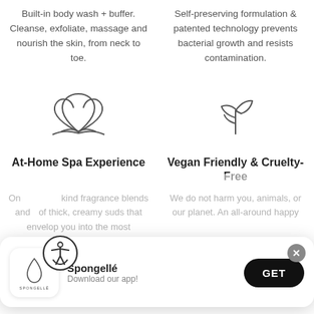Built-in body wash + buffer. Cleanse, exfoliate, massage and nourish the skin, from neck to toe.
Self-preserving formulation & patented technology prevents bacterial growth and resists contamination.
[Figure (illustration): Lotus flower outline icon]
[Figure (illustration): Plant/leaf sprout outline icon]
At-Home Spa Experience
Vegan Friendly & Cruelty-Free
One-of-a-kind fragrance blends and clouds of thick, creamy suds that envelop you into the most
We do not harm you, animals, or our planet. An all-around happy
VIOLET LEAF DOVER FLOWER
[Figure (screenshot): App install popup: Spongellé app logo, name 'Spongellé', tagline 'Download our app!', and GET button]